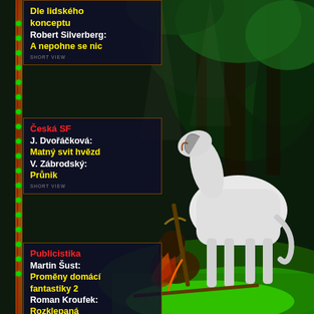[Figure (illustration): Fantasy illustration showing a white horse standing in a dark forest clearing, with a crouching armored figure/warrior in the foreground holding a weapon. Dark green forest background.]
Dle lidského konceptu
Robert Silverberg:
A nepohne se nic
Česká SF
J. Dvořáčková:
Matný svit hvězd
V. Zábrodský:
Průnik
Publicistika
Martin Šust:
Proměny domácí fantastiky 2
Roman Kroufek:
Rozklepaná hrůza
Jaroslav Petr:
Fantastická věda